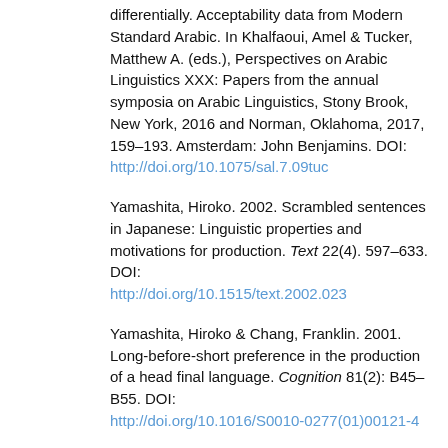differentially. Acceptability data from Modern Standard Arabic. In Khalfaoui, Amel & Tucker, Matthew A. (eds.), Perspectives on Arabic Linguistics XXX: Papers from the annual symposia on Arabic Linguistics, Stony Brook, New York, 2016 and Norman, Oklahoma, 2017, 159–193. Amsterdam: John Benjamins. DOI: http://doi.org/10.1075/sal.7.09tuc
Yamashita, Hiroko. 2002. Scrambled sentences in Japanese: Linguistic properties and motivations for production. Text 22(4). 597–633. DOI: http://doi.org/10.1515/text.2002.023
Yamashita, Hiroko & Chang, Franklin. 2001. Long-before-short preference in the production of a head final language. Cognition 81(2): B45–B55. DOI: http://doi.org/10.1016/S0010-0277(01)00121-4
Yano, Masataka. 2019. On the nature of the discourse effect on extraction in Japanese. Glossa: a journal of general linguistics 4(1). 90. DOI: http://doi.org/10.5334/gjgl.822